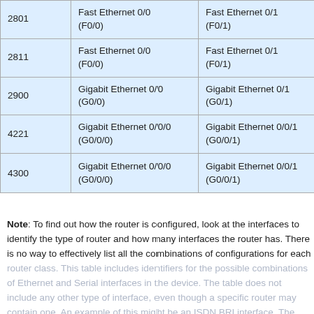| Router Model | Ethernet Interface #1 | Ethernet Interface #2 | Se... |
| --- | --- | --- | --- |
| 2801 | Fast Ethernet 0/0 (F0/0) | Fast Ethernet 0/1 (F0/1) | Se |
| 2811 | Fast Ethernet 0/0 (F0/0) | Fast Ethernet 0/1 (F0/1) | Se |
| 2900 | Gigabit Ethernet 0/0 (G0/0) | Gigabit Ethernet 0/1 (G0/1) | Se |
| 4221 | Gigabit Ethernet 0/0/0 (G0/0/0) | Gigabit Ethernet 0/0/1 (G0/0/1) | Se |
| 4300 | Gigabit Ethernet 0/0/0 (G0/0/0) | Gigabit Ethernet 0/0/1 (G0/0/1) | Se |
Note: To find out how the router is configured, look at the interfaces to identify the type of router and how many interfaces the router has. There is no way to effectively list all the combinations of configurations for each router class. This table includes identifiers for the possible combinations of Ethernet and Serial interfaces in the device. The table does not include any other type of interface, even though a specific router may contain one. An example of this might be an ISDN BRI interface. The string in parenthesis is the legal abbreviation that can be used in Cisco.